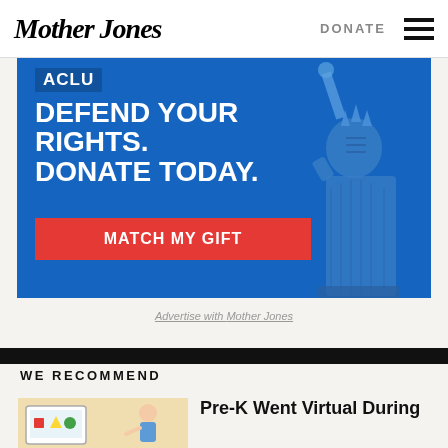Mother Jones | DONATE
[Figure (illustration): ACLU advertisement: 'DEFEND YOUR RIGHTS. DONATE TODAY.' with a MATCH MY GIFT red button and Statue of Liberty graphic on blue background.]
Advertise with Mother Jones
WE RECOMMEND
[Figure (illustration): Thumbnail illustration of a child doing virtual learning, colorful shapes visible on a screen.]
Pre-K Went Virtual During